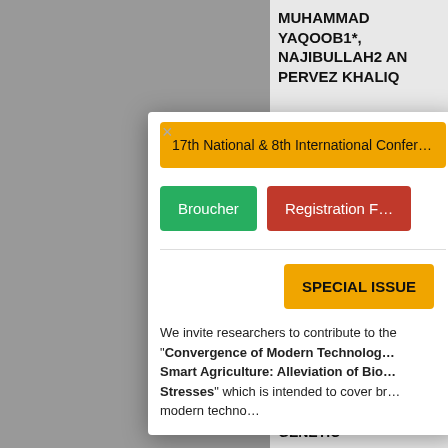MUHAMMAD YAQOOB1*, NAJIBULLAH2 AND PERVEZ KHALIQ
GENETIC
SELECTION
YELLOW MOSA
YAQOOB1, A.M. HAQQANI2 AND NAJIBULLAH3,
GENETIC
[Figure (screenshot): Modal dialog overlay showing conference info with close button (×), yellow bar with '17th National & 8th International Confer...', green 'Broucher' button, red 'Registration F...' button, a divider line, 'SPECIAL ISSUE' yellow badge, and body text about convergence of modern technologies and smart agriculture.]
We invite researchers to contribute to the "Convergence of Modern Technologies Smart Agriculture: Alleviation of Biot Stresses" which is intended to cover br modern techno...